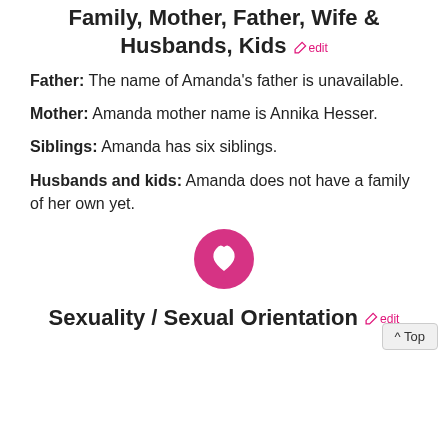Family, Mother, Father, Wife & Husbands, Kids edit
Father: The name of Amanda's father is unavailable.
Mother: Amanda mother name is Annika Hesser.
Siblings: Amanda has six siblings.
Husbands and kids: Amanda does not have a family of her own yet.
[Figure (illustration): Pink circular chat/heart icon]
Sexuality / Sexual Orientation edit